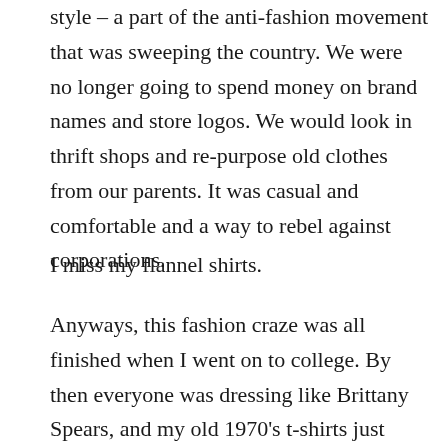style – a part of the anti-fashion movement that was sweeping the country. We were no longer going to spend money on brand names and store logos. We would look in thrift shops and re-purpose old clothes from our parents. It was casual and comfortable and a way to rebel against corporations.
I miss my flannel shirts.
Anyways, this fashion craze was all finished when I went on to college. By then everyone was dressing like Brittany Spears, and my old 1970's t-shirts just looked weird. But now, in 2015, I see flannel shirts coming back in a big way. Although instead of the boxy, loose-fitting and mostly un-attractive plaids, they seem more fitted with brighter colors. I figured it was my duty as a